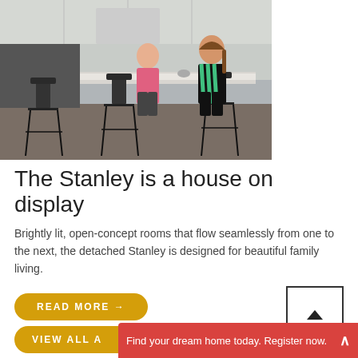[Figure (photo): Two women sitting at a kitchen island on black bar stools in a modern open-concept kitchen. One woman wears a pink top and the other wears a black and green striped shirt.]
The Stanley is a house on display
Brightly lit, open-concept rooms that flow seamlessly from one to the next, the detached Stanley is designed for beautiful family living.
READ MORE →
VIEW ALL A
Find your dream home today. Register now.